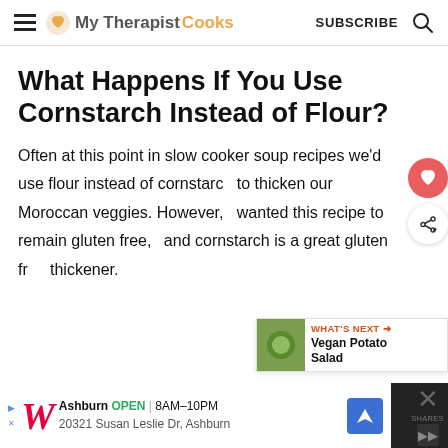My Therapist Cooks  SUBSCRIBE
What Happens If You Use Cornstarch Instead of Flour?
Often at this point in slow cooker soup recipes we'd use flour instead of cornstarch to thicken our Moroccan veggies. However, wanted this recipe to remain gluten free, and cornstarch is a great gluten free thickener.
[Figure (other): What's Next promo banner with thumbnail image for Vegan Potato Salad]
[Figure (other): Walgreens advertisement banner showing Ashburn location open 8AM-10PM at 20321 Susan Leslie Dr, Ashburn]